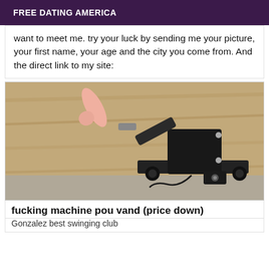FREE DATING AMERICA
want to meet me. try your luck by sending me your picture, your first name, your age and the city you come from. And the direct link to my site:
[Figure (photo): A mechanical sex machine with a black motorized body mounted on a platform with suction cup feet, with a pink attachment extending from the front at an angle, placed on a wooden surface.]
fucking machine pou vand (price down)
Gonzalez best swinging club